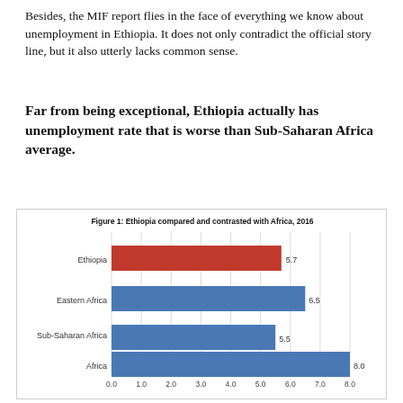Besides, the MIF report flies in the face of everything we know about unemployment in Ethiopia. It does not only contradict the official story line, but it also utterly lacks common sense.
Far from being exceptional, Ethiopia actually has unemployment rate that is worse than Sub-Saharan Africa average.
[Figure (bar-chart): Figure 1:  Ethiopia compared and contrasted with Africa, 2016]